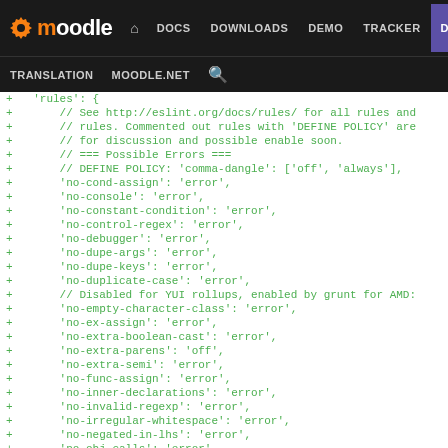moodle DOCS DOWNLOADS DEMO TRACKER DEV TRANSLATION MOODLE.NET
+ 'rules': {
+     // See http://eslint.org/docs/rules/ for all rules and
+     // rules. Commented out rules with 'DEFINE POLICY' are
+     // for discussion and possible enable soon.
+     // === Possible Errors ===
+     // DEFINE POLICY: 'comma-dangle': ['off', 'always'],
+     'no-cond-assign': 'error',
+     'no-console': 'error',
+     'no-constant-condition': 'error',
+     'no-control-regex': 'error',
+     'no-debugger': 'error',
+     'no-dupe-args': 'error',
+     'no-dupe-keys': 'error',
+     'no-duplicate-case': 'error',
+     // Disabled for YUI rollups, enabled by grunt for AMD:
+     'no-empty-character-class': 'error',
+     'no-ex-assign': 'error',
+     'no-extra-boolean-cast': 'error',
+     'no-extra-parens': 'off',
+     'no-extra-semi': 'error',
+     'no-func-assign': 'error',
+     'no-inner-declarations': 'error',
+     'no-invalid-regexp': 'error',
+     'no-irregular-whitespace': 'error',
+     'no-negated-in-lhs': 'error',
+     'no-obj-calls': 'error',